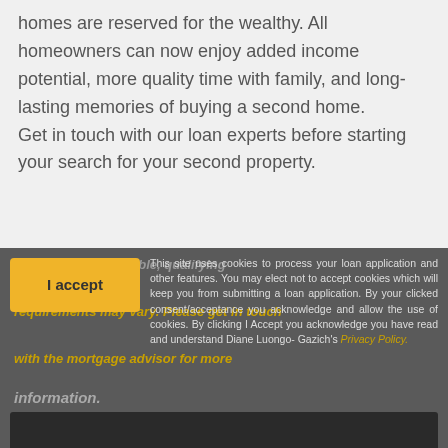homes are reserved for the wealthy. All homeowners can now enjoy added income potential, more quality time with family, and long-lasting memories of buying a second home.

Get in touch with our loan experts before starting your search for your second property.
This site uses cookies to process your loan application and other features. You may elect not to accept cookies which will keep you from submitting a loan application. By your clicked consent/acceptance you acknowledge and allow the use of cookies. By clicking I Accept you acknowledge you have read and understand Diane Luongo- Gazich's Privacy Policy.